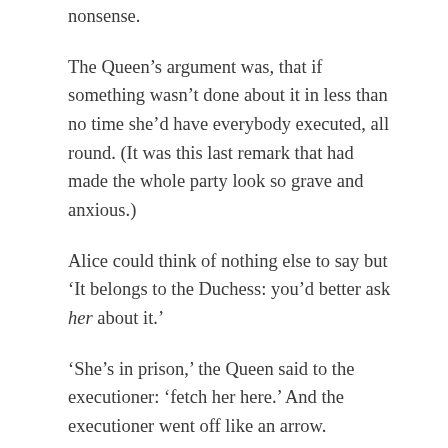nonsense.
The Queen's argument was, that if something wasn't done about it in less than no time she'd have everybody executed, all round. (It was this last remark that had made the whole party look so grave and anxious.)
Alice could think of nothing else to say but 'It belongs to the Duchess: you'd better ask her about it.'
'She's in prison,' the Queen said to the executioner: 'fetch her here.' And the executioner went off like an arrow.
The Cat's head began fading away the moment he was gone, and, by the time he had come back with the Duchess, it had entirely disappeared; so the King and the executioner ran wildly up and down looking for it,